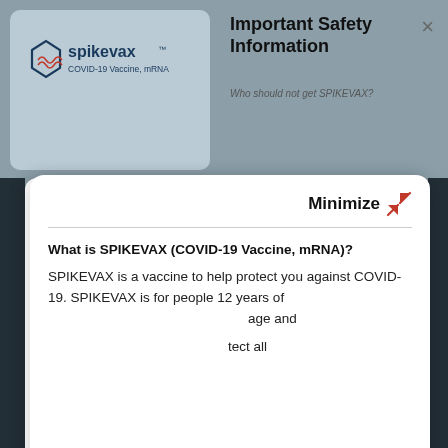[Figure (screenshot): Spikevax COVID-19 Vaccine mRNA product box image in background]
Important Safety Information
Who should not get SPIKEVAX?
Minimize
What is SPIKEVAX (COVID-19 Vaccine, mRNA)?
SPIKEVAX is a vaccine to help protect you against COVID-19. SPIKEVAX is for people 12 years of age and older. SPIKEVAX may not protect all
This website stores data such as cookies to enable essential site functionality, as well as marketing, personalization, and analytics. By remaining on this website you indicate your consent.
evious COVID-1...
Data Storage Policy
nation →